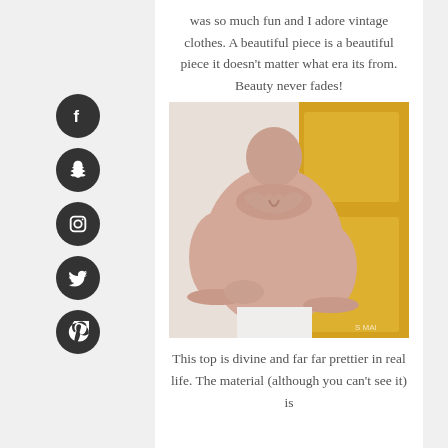was so much fun and I adore vintage clothes. A beautiful piece is a beautiful piece it doesn't matter what era its from. Beauty never fades!
[Figure (photo): A woman wearing a blush pink ruffled long-sleeve top with white pants, standing in front of a yellow door. The top features ruffled collar detailing and ruffled cuffs. A small watermark 'S MAI' is visible in the bottom right.]
This top is divine and far far prettier in real life. The material (although you can't see it) is